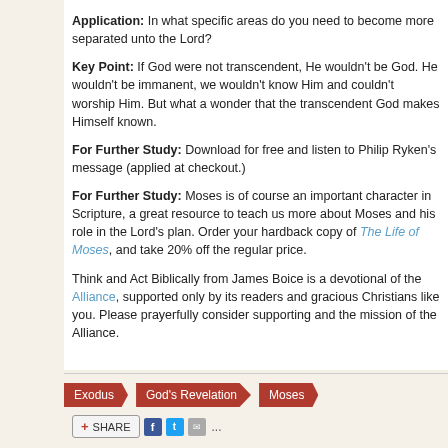Application: In what specific areas do you need to become more separated unto the Lord?
Key Point: If God were not transcendent, He wouldn't be God. He wouldn't be immanent, we wouldn't know Him and couldn't worship Him. But what a wonder that the transcendent God makes Himself known.
For Further Study: Download for free and listen to Philip Ryken's message (applied at checkout.)
For Further Study: Moses is of course an important character in Scripture, a great resource to teach us more about Moses and his role in the Lord's plan. Order your hardback copy of The Life of Moses, and take 20% off the regular price.
Think and Act Biblically from James Boice is a devotional of the Alliance, supported only by its readers and gracious Christians like you. Please prayerfully consider supporting and the mission of the Alliance.
Exodus
God's Revelation
Moses